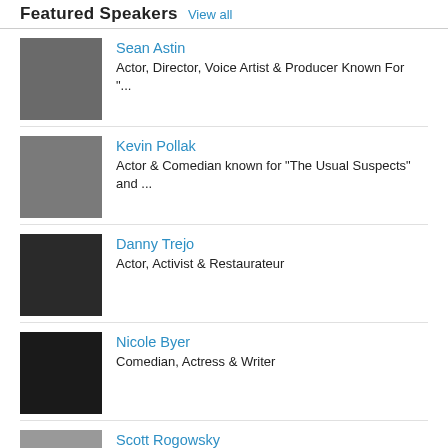Featured Speakers View all
Sean Astin — Actor, Director, Voice Artist & Producer Known For "...
Kevin Pollak — Actor & Comedian known for "The Usual Suspects" and ...
Danny Trejo — Actor, Activist & Restaurateur
Nicole Byer — Comedian, Actress & Writer
Scott Rogowsky — Comedian & Former Host of HQ Trivia
Max Greenfield — Actor Known For "New Girl"